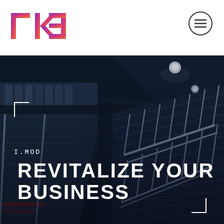[Figure (logo): TKE logo with stylized letters T, K, E in gradient purple-to-orange colors]
[Figure (photo): Interior escalator/staircase scene in a modern building with dark steel and glass architecture, viewed from below at an angle]
I.MOD
REVITALIZE YOUR BUSINESS